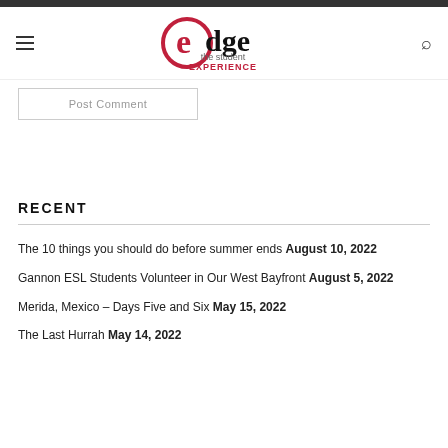edge the student EXPERIENCE
Post Comment
RECENT
The 10 things you should do before summer ends August 10, 2022
Gannon ESL Students Volunteer in Our West Bayfront August 5, 2022
Merida, Mexico – Days Five and Six May 15, 2022
The Last Hurrah May 14, 2022